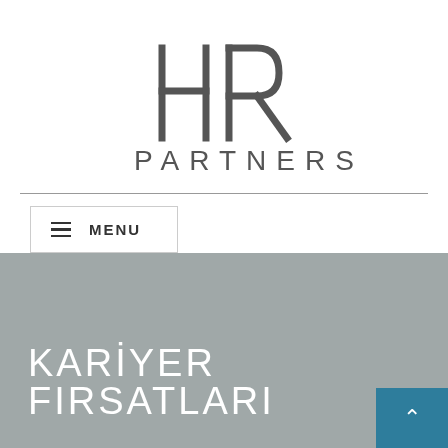[Figure (logo): HR Partners logo — stylized H and R letters above the text PARTNERS]
≡  MENU
KARİYER FIRSATLARI